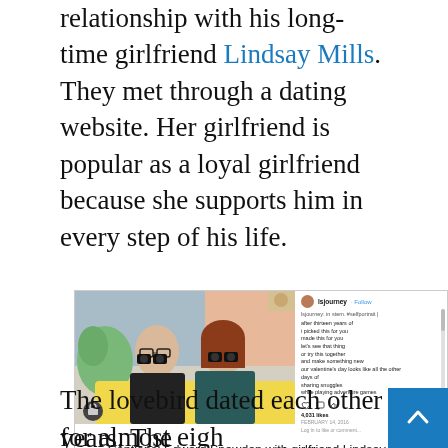relationship with his long-time girlfriend Lindsay Mills. They met through a dating website. Her girlfriend is popular as a loyal girlfriend because she supports him in every step of his life.
[Figure (photo): Instagram post showing Edward Snowden and girlfriend Lindsay Mills sitting on a couch under a yellow blanket, both holding up cameras/binoculars to their faces. To the right is the Instagram caption text from user 'lsjourney'.]
Captions: Edward Snowden with girlfriend Lindsay Mills
The lovebird dated each other for almost eight years. The couple set for their wedding before